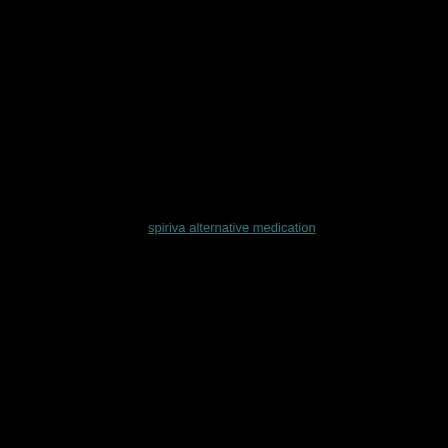spiriva alternative medication